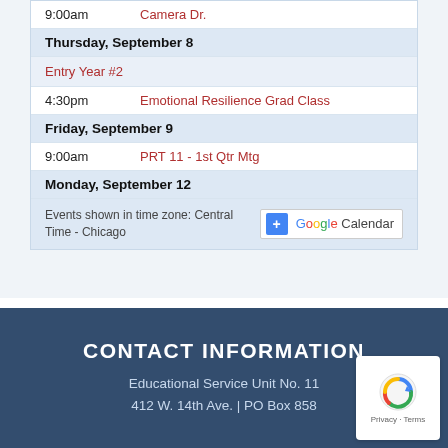9:00am   Camera Dr.
Thursday, September 8
Entry Year #2
4:30pm   Emotional Resilience Grad Class
Friday, September 9
9:00am   PRT 11 - 1st Qtr Mtg
Monday, September 12
Events shown in time zone: Central Time - Chicago
[Figure (other): Blue glossy Register HERE button]
CONTACT INFORMATION
Educational Service Unit No. 11
412 W. 14th Ave. | PO Box 858